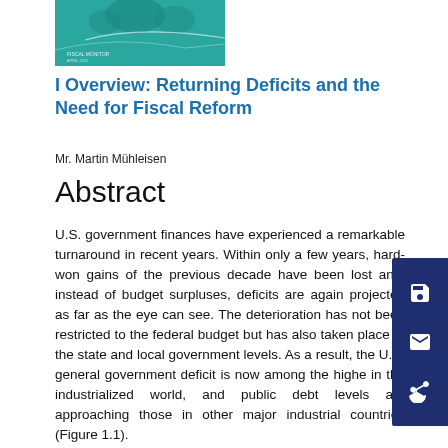[Figure (illustration): Teal/turquoise book cover image for a finance/fiscal reform publication]
I Overview: Returning Deficits and the Need for Fiscal Reform
Mr. Martin Mühleisen
Abstract
U.S. government finances have experienced a remarkable turnaround in recent years. Within only a few years, hard-won gains of the previous decade have been lost and, instead of budget surpluses, deficits are again projected as far as the eye can see. The deterioration has not been restricted to the federal budget but has also taken place at the state and local government levels. As a result, the U.S. general government deficit is now among the highest in the industrialized world, and public debt levels are approaching those in other major industrial countries (Figure 1.1).